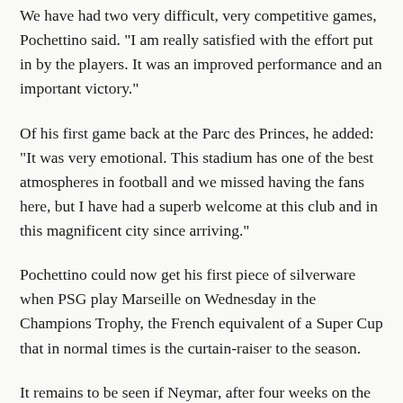We have had two very difficult, very competitive games, Pochettino said. "I am really satisfied with the effort put in by the players. It was an improved performance and an important victory."
Of his first game back at the Parc des Princes, he added: "It was very emotional. This stadium has one of the best atmospheres in football and we missed having the fans here, but I have had a superb welcome at this club and in this magnificent city since arriving."
Pochettino could now get his first piece of silverware when PSG play Marseille on Wednesday in the Champions Trophy, the French equivalent of a Super Cup that in normal times is the curtain-raiser to the season.
It remains to be seen if Neymar, after four weeks on the